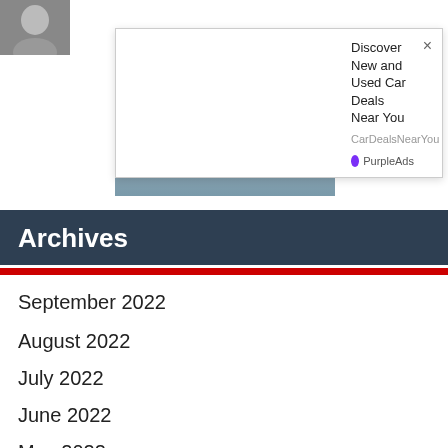[Figure (photo): Partial view of a person's photo in the top-left corner, cropped]
[Figure (photo): Advertisement popup showing a silver sedan car driving on a road with text 'Discover New and Used Car Deals Near You', source 'CarDealsNearYou', branded by PurpleAds]
Archives
September 2022
August 2022
July 2022
June 2022
May 2022
April 2022
March 2022
February 2022